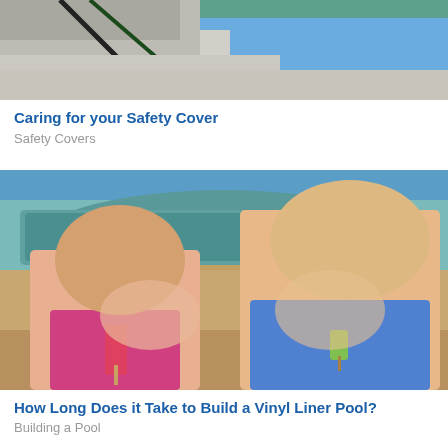[Figure (photo): Partial top view of a pool safety cover with blue sky visible, cropped at the top of the page]
Caring for your Safety Cover
Safety Covers
[Figure (photo): Two young blonde girls in swimsuits eating popsicles/ice cream inside an empty vinyl liner pool]
How Long Does it Take to Build a Vinyl Liner Pool?
Building a Pool